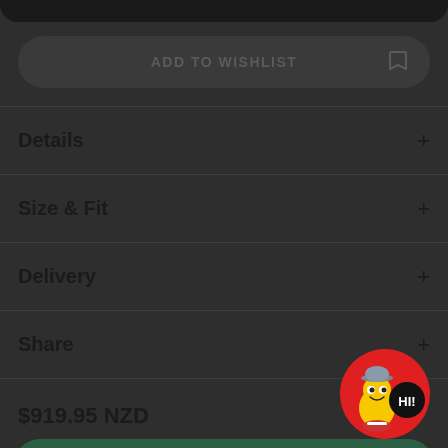[Figure (screenshot): Top dark rounded bar at the top of the screen]
ADD TO WISHLIST
Details
Size & Fit
Delivery
Share
$919.95 NZD
[Figure (illustration): Red circular mascot bubble with cartoon sneaker character and HI! text]
ADD TO CART